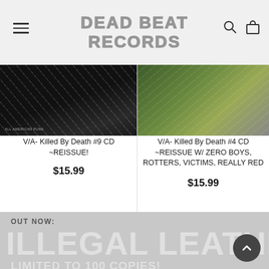Dead Beat Records
[Figure (screenshot): Product image for V/A- Killed By Death #9 CD ~REISSUE! — black album cover]
V/A- Killed By Death #9 CD ~REISSUE!
$15.99
[Figure (screenshot): Product image for V/A- Killed By Death #4 CD — colorful album cover]
V/A- Killed By Death #4 CD ~REISSUE W/ ZERO BOYS, ROTTERS, VICTIMS, REALLY RED
$15.99
OUT NOW:
ILLEGAL LEATHER LP
LIMITED TO 100 COPIES!